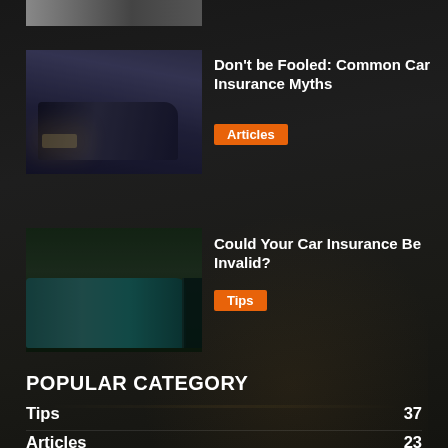[Figure (photo): Partial cropped photo at top of page, car in rain/dark background]
[Figure (photo): Car driving in rain at night, dark moody lighting]
Don't be Fooled: Common Car Insurance Myths
Articles
[Figure (photo): Damaged blue/teal car with open door, crash damage visible]
Could Your Car Insurance Be Invalid?
Tips
POPULAR CATEGORY
Tips 37
Articles 23
Guides 18
Young Drivers 9
Older Drivers 5
Male Drivers 4